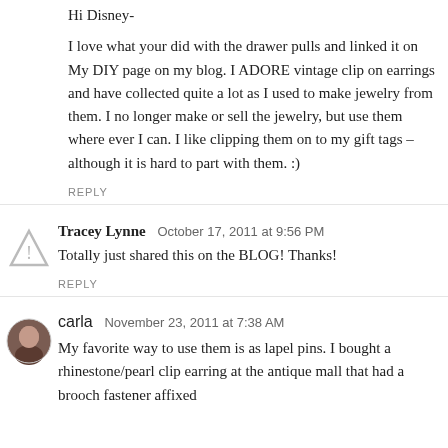Hi Disney-

I love what your did with the drawer pulls and linked it on My DIY page on my blog. I ADORE vintage clip on earrings and have collected quite a lot as I used to make jewelry from them. I no longer make or sell the jewelry, but use them where ever I can. I like clipping them on to my gift tags – although it is hard to part with them. :)
REPLY
Tracey Lynne  October 17, 2011 at 9:56 PM
Totally just shared this on the BLOG! Thanks!
REPLY
carla  November 23, 2011 at 7:38 AM
My favorite way to use them is as lapel pins. I bought a rhinestone/pearl clip earring at the antique mall that had a brooch fastener affixed